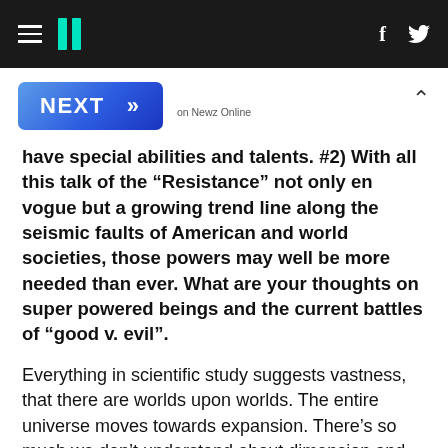HuffPost navigation header with hamburger menu, logo, Facebook and Twitter icons
[Figure (screenshot): NEXT button with double chevron arrows and 'on Newz Online' label, plus a chevron-up collapse icon]
have special abilities and talents. #2) With all this talk of the “Resistance” not only en vogue but a growing trend line along the seismic faults of American and world societies, those powers may well be more needed than ever. What are your thoughts on super powered beings and the current battles of “good v. evil”.
Everything in scientific study suggests vastness, that there are worlds upon worlds. The entire universe moves towards expansion. There’s so much we don’t understand about dimension and